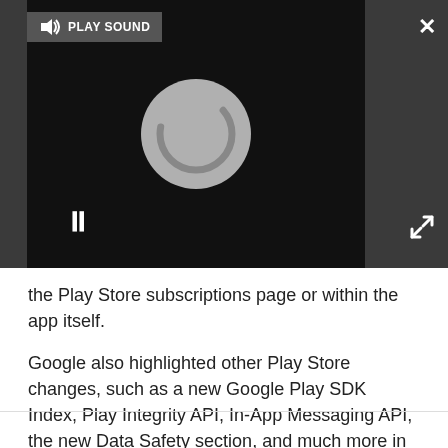[Figure (screenshot): A video player UI showing a dark background with a circular spinner/loading indicator in the center, a pause button at bottom left, and a 'PLAY SOUND' bar at the top left. A close (X) button appears at top right and an expand button at bottom right.]
the Play Store subscriptions page or within the app itself.
Google also highlighted other Play Store changes, such as a new Google Play SDK Index, Play Integrity API, In-App Messaging API, the new Data Safety section, and much more in its Whats New in Google Play session. You can watch the video below for more details.